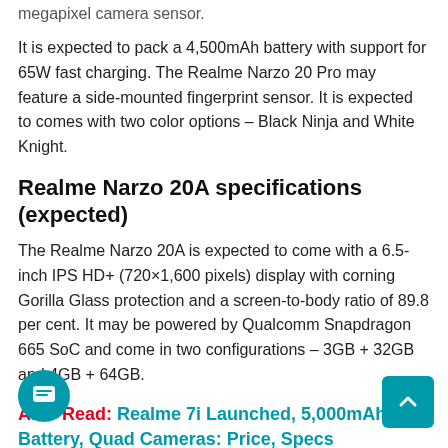megapixel camera sensor.
It is expected to pack a 4,500mAh battery with support for 65W fast charging. The Realme Narzo 20 Pro may feature a side-mounted fingerprint sensor. It is expected to comes with two color options – Black Ninja and White Knight.
Realme Narzo 20A specifications (expected)
The Realme Narzo 20A is expected to come with a 6.5-inch IPS HD+ (720×1,600 pixels) display with corning Gorilla Glass protection and a screen-to-body ratio of 89.8 per cent. It may be powered by Qualcomm Snapdragon 665 SoC and come in two configurations – 3GB + 32GB and 4GB + 64GB.
Also Read: Realme 7i Launched, 5,000mAh Battery, Quad Cameras: Price, Specs
This model is tipped to have a triple rear camera setup that includes a 12-megapixel primary sensor, a 2-megapixel black and white camera,